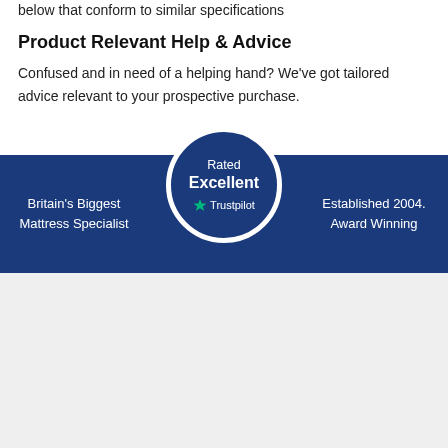below that conform to similar specifications
Product Relevant Help & Advice
Confused and in need of a helping hand? We've got tailored advice relevant to your prospective purchase.
[Figure (infographic): Blue banner with 'Britain's Biggest Mattress Specialist' on left, a circular Trustpilot badge in the centre reading 'Rated Excellent ★ Trustpilot', and 'Established 2004. Award Winning' on the right.]
Britains Biggest Mattress Specialist
Sales: 0333 577 5773
Customer service: 0333 577 5773
Cookie Policy
Privacy Policy